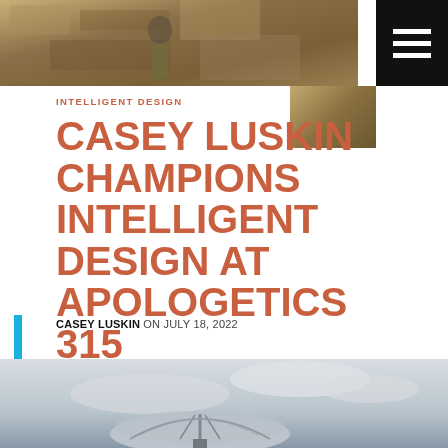[Figure (photo): Top banner photo of a person standing in front of rocky cliff/geological formation, partially obscured]
[Figure (logo): Hamburger menu icon (three white horizontal lines) on black background in top-right corner]
INTELLIGENT DESIGN
CASEY LUSKIN CHAMPIONS INTELLIGENT DESIGN AT APOLOGETICS 315
CASEY LUSKIN ON JULY 18, 2022
[Figure (photo): Bottom photo of a large radio telescope dish against a cloudy sky]